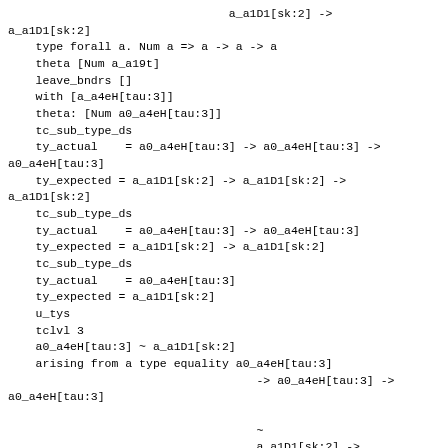a_a1D1[sk:2] ->
a_a1D1[sk:2]
    type forall a. Num a => a -> a -> a
    theta [Num a_a19t]
    leave_bndrs []
    with [a_a4eH[tau:3]]
    theta: [Num a0_a4eH[tau:3]]
    tc_sub_type_ds
    ty_actual    = a0_a4eH[tau:3] -> a0_a4eH[tau:3] ->
a0_a4eH[tau:3]
    ty_expected = a_a1D1[sk:2] -> a_a1D1[sk:2] ->
a_a1D1[sk:2]
    tc_sub_type_ds
    ty_actual    = a0_a4eH[tau:3] -> a0_a4eH[tau:3]
    ty_expected = a_a1D1[sk:2] -> a_a1D1[sk:2]
    tc_sub_type_ds
    ty_actual    = a0_a4eH[tau:3]
    ty_expected = a_a1D1[sk:2]
    u_tys
    tclvl 3
    a0_a4eH[tau:3] ~ a_a1D1[sk:2]
    arising from a type equality a0_a4eH[tau:3]
                                    -> a0_a4eH[tau:3] ->
a0_a4eH[tau:3]

                                    ~
                                    a_a1D1[sk:2] ->
a_a1D1[sk:2] -> a_a1D1[sk:2]
    u_tys
    tclvl 2